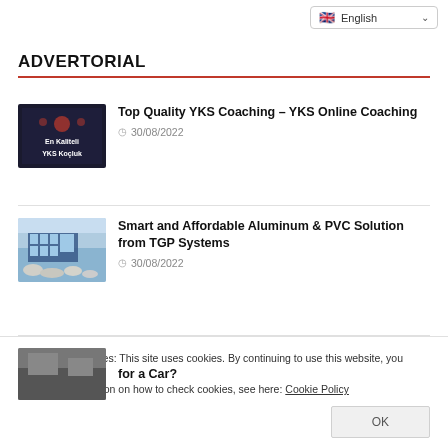English
ADVERTORIAL
[Figure (photo): Dark background image with Turkish text 'En Kaliteli YKS Koçluk']
Top Quality YKS Coaching – YKS Online Coaching
30/08/2022
[Figure (photo): Modern building with aluminum/PVC facade and landscaping]
Smart and Affordable Aluminum & PVC Solution from TGP Systems
30/08/2022
Privacy and Cookies: This site uses cookies. By continuing to use this website, you agree to their use.
For more information on how to check cookies, see here: Cookie Policy
for a Car?